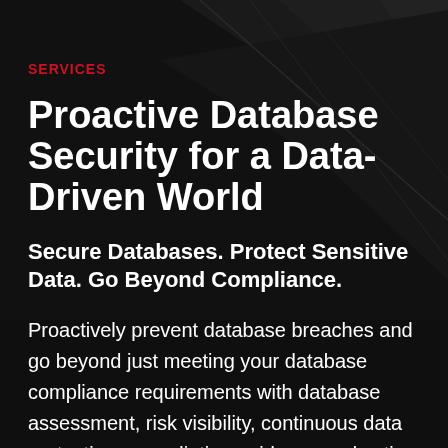SERVICES
Proactive Database Security for a Data-Driven World
Secure Databases. Protect Sensitive Data. Go Beyond Compliance.
Proactively prevent database breaches and go beyond just meeting your database compliance requirements with database assessment, risk visibility, continuous data protection, remediation guidance and active